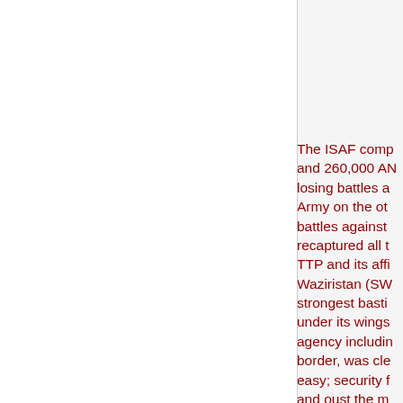The ISAF comp and 260,000 AN losing battles a Army on the ot battles against recaptured all t TTP and its affi Waziristan (SW strongest basti under its wings agency includin border, was cle easy; security f and oust the m